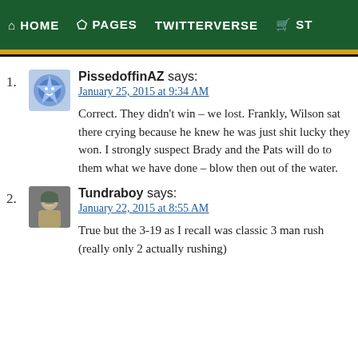HOME  PAGES  TWITTERVERSE  ST
1. PissedoffinAZ says:
January 25, 2015 at 9:34 AM

Correct. They didn't win – we lost. Frankly, Wilson sat there crying because he knew he was just shit lucky they won. I strongly suspect Brady and the Pats will do to them what we have done – blow then out of the water.
2. Tundraboy says:
January 22, 2015 at 8:55 AM

True but the 3-19 as I recall was classic 3 man rush (really only 2 actually rushing)